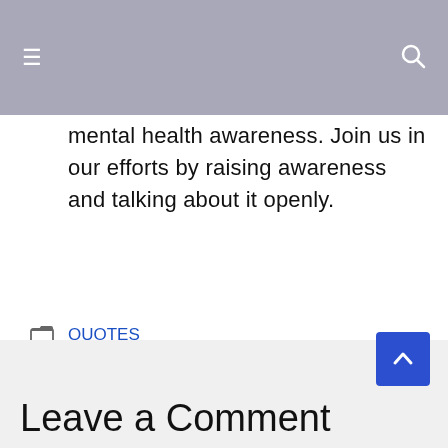Navigation bar with menu and search icons
mental health awareness. Join us in our efforts by raising awareness and talking about it openly.
QUOTES
Mental health quotes you are not alone
Recovery Positive Mental Health Quotes
Quotes About Protecting Your Mental Health
Leave a Comment